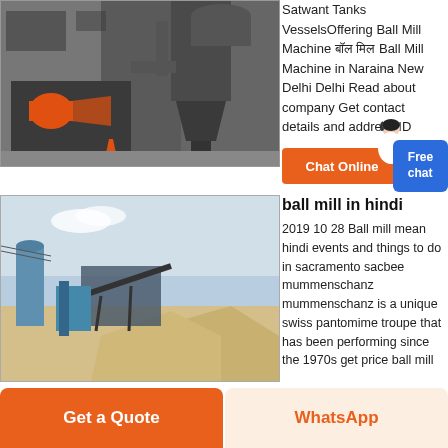[Figure (photo): Industrial ball mill machinery with orange motor, pipes, and dust collector in a factory setting]
Satwant Tanks VesselsOffering Ball Mill Machine बॉल मिल Ball Mill Machine in Naraina New Delhi Delhi Read about company Get contact details and address ID
[Figure (illustration): Chat Online button (orange) with Free chat popup (blue) and customer service lady icon]
[Figure (photo): Outdoor industrial site with ball mill machinery, silos, conveyor belts, and gravel piles]
ball mill in hindi
2019 10 28 Ball mill mean hindi events and things to do in sacramento sacbee mummenschanz mummenschanz is a unique swiss pantomime troupe that has been performing since the 1970s get price ball mill
Get a Quote
WhatsApp